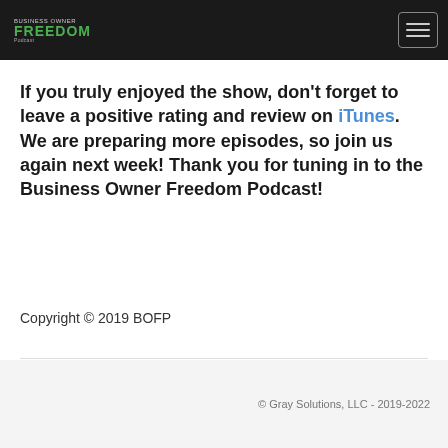Business Owner FREEDOM Podcast
If you truly enjoyed the show, don't forget to leave a positive rating and review on iTunes. We are preparing more episodes, so join us again next week! Thank you for tuning in to the Business Owner Freedom Podcast!
Copyright © 2019 BOFP
© Gray Solutions, LLC - 2019-2022